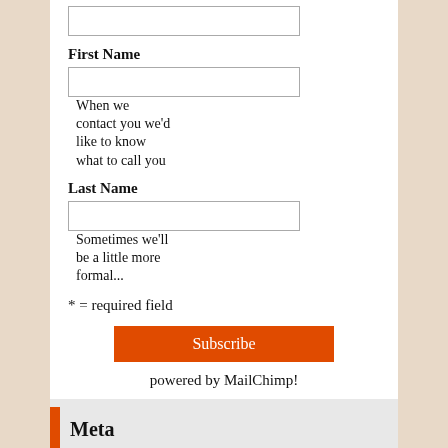(form input field at top)
First Name
When we contact you we'd like to know what to call you
Last Name
Sometimes we'll be a little more formal...
* = required field
Subscribe
powered by MailChimp!
Meta
Log in
Entries feed